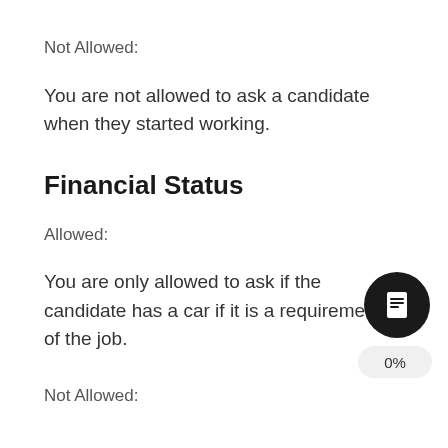Not Allowed:
You are not allowed to ask a candidate when they started working.
Financial Status
Allowed:
You are only allowed to ask if the candidate has a car if it is a requirement of the job.
Not Allowed: